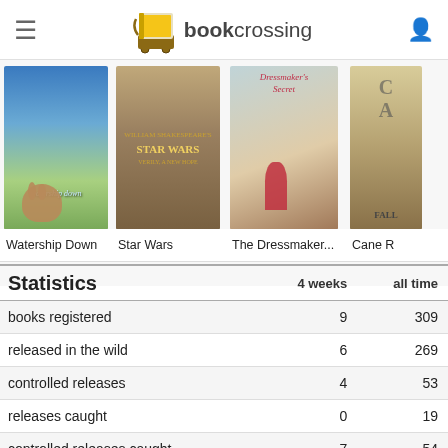Recent Book Activity
[Figure (screenshot): BookCrossing website navigation bar with hamburger menu, BookCrossing logo (book icon with 'bookcrossing' text), and user profile icon]
[Figure (photo): Book covers strip showing: Watership Down, Star Wars, The Dressmaker..., Cane R (partially visible)]
Watership Down    Star Wars    The Dressmaker...    Cane R
| Statistics | 4 weeks | all time |
| --- | --- | --- |
| books registered | 9 | 309 |
| released in the wild | 6 | 269 |
| controlled releases | 4 | 53 |
| releases caught | 0 | 19 |
| controlled releases caught | 7 | 54 |
| books found | 8 | 113 |
| tell-a-friend referrals | 0 | 0 |
| new member referrals | 0 | 0 |